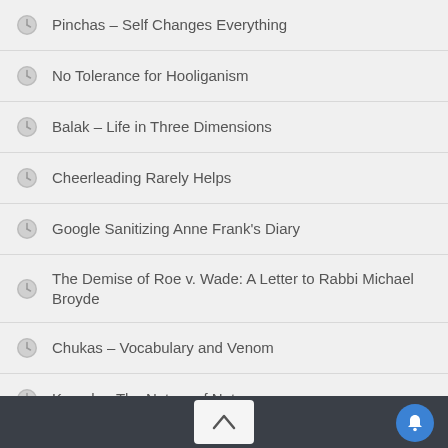Pinchas – Self Changes Everything
No Tolerance for Hooliganism
Balak – Life in Three Dimensions
Cheerleading Rarely Helps
Google Sanitizing Anne Frank's Diary
The Demise of Roe v. Wade: A Letter to Rabbi Michael Broyde
Chukas – Vocabulary and Venom
Korach – The Nature of Nature